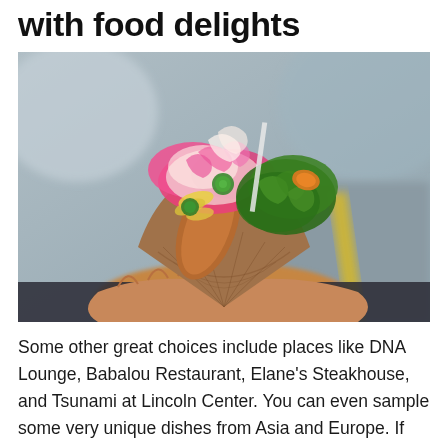with food delights
[Figure (photo): A hand holding a paper cone/boat filled with a colorful gourmet hot dog or street food item, loaded with toppings including pink slaw, kale, macaroni, jalapeño slices, and other colorful garnishes. The background shows an urban outdoor setting with a yellow road marking visible.]
Some other great choices include places like DNA Lounge, Babalou Restaurant, Elane's Steakhouse, and Tsunami at Lincoln Center. You can even sample some very unique dishes from Asia and Europe. If you want to find the best ethnic restaurants, head to the East Village. Here you will find a full slate of Asian-inspired spots, from hakotsu ( Indonesian steamed rice) shops